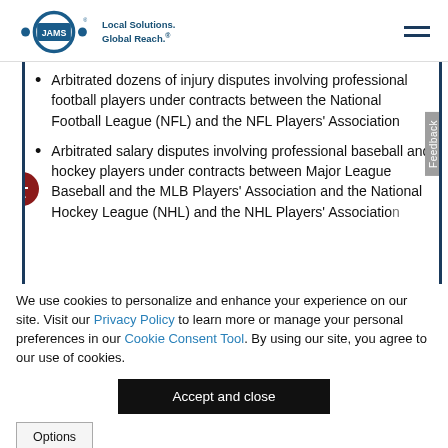JAMS — Local Solutions. Global Reach.
Arbitrated dozens of injury disputes involving professional football players under contracts between the National Football League (NFL) and the NFL Players' Association
Arbitrated salary disputes involving professional baseball and hockey players under contracts between Major League Baseball and the MLB Players' Association and the National Hockey League (NHL) and the NHL Players' Association
We use cookies to personalize and enhance your experience on our site. Visit our Privacy Policy to learn more or manage your personal preferences in our Cookie Consent Tool. By using our site, you agree to our use of cookies.
Accept and close
Options